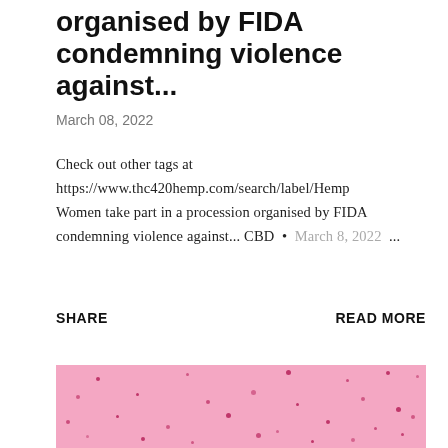organised by FIDA condemning violence against...
March 08, 2022
Check out other tags at https://www.thc420hemp.com/search/label/Hemp Women take part in a procession organised by FIDA condemning violence against... CBD • March 8, 2022 ...
SHARE    READ MORE
[Figure (photo): Pink background with scattered small dark pink dots, resembling a microscopic or textile image.]